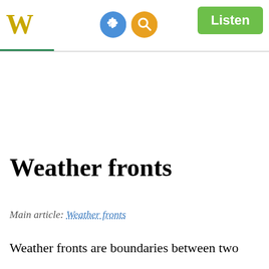W  [gear icon] [search icon]  Listen
Weather fronts
Main article: Weather fronts
Weather fronts are boundaries between two